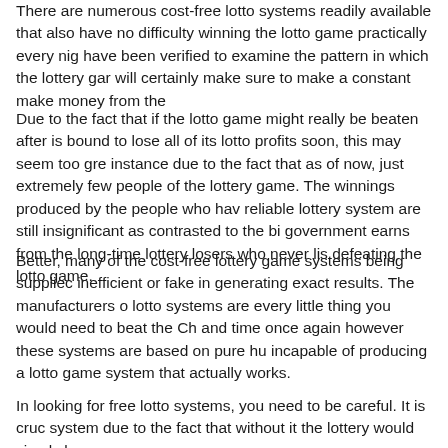There are numerous cost-free lotto systems readily available that also have no difficulty winning the lotto game practically every night have been verified to examine the pattern in which the lottery game will certainly make sure to make a constant make money from the
Due to the fact that if the lotto game might really be beaten after is bound to lose all of its lotto profits soon, this may seem too great instance due to the fact that as of now, just extremely few people of the lottery game. The winnings produced by the people who have reliable lottery system are still insignificant as contrasted to the big government earns from the long-time lottery losers who never listened defeating the lotto game.
Better, many of the cost-free lottery game systems being supplied are inefficient or fake in generating exact results. The manufacturers of lotto systems are every little thing you would need to beat the Choose and time once again however these systems are based on pure human incapable of producing a lotto game system that actually works.
In looking for free lotto systems, you need to be careful. It is crucial system due to the fact that without it the lottery would simply be a